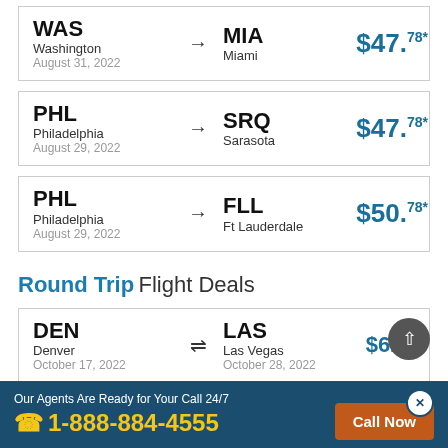WAS Washington August 31, 2022 → MIA Miami $47.78*
PHL Philadelphia August 29, 2022 → SRQ Sarasota $47.78*
PHL Philadelphia August 29, 2022 → FLL Ft Lauderdale $50.78*
Round Trip Flight Deals
DEN Denver October 17, 2022 ⇌ LAS Las Vegas October 28, 2022 $61.75*
Our Agents Are Ready for Your Call 24/7
1-888-884-4555
Call Now